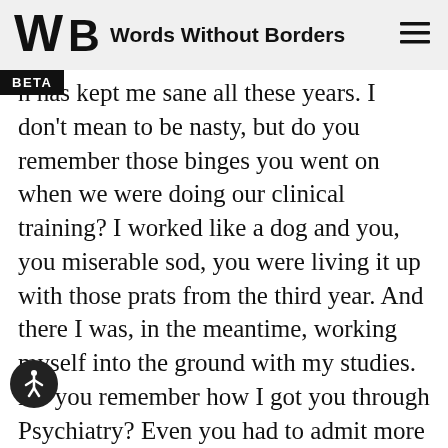Words Without Borders
n has kept me sane all these years. I don't mean to be nasty, but do you remember those binges you went on when we were doing our clinical training? I worked like a dog and you, you miserable sod, you were living it up with those prats from the third year. And there I was, in the meantime, working myself into the ground with my studies. Do you remember how I got you through Psychiatry? Even you had to admit more than once that you would never have finished your degree if I hadn't been such a pain in the ass. Pour me another. Yes, of course I remember how covered for me in Dermatology, but then, as you know perfectly well, that's a much tamer